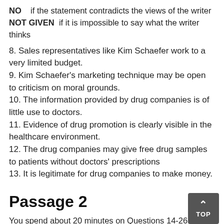NO    if the statement contradicts the views of the writer
NOT GIVEN  if it is impossible to say what the writer thinks
8. Sales representatives like Kim Schaefer work to a very limited budget.
9. Kim Schaefer's marketing technique may be open to criticism on moral grounds.
10. The information provided by drug companies is of little use to doctors.
11. Evidence of drug promotion is clearly visible in the healthcare environment.
12. The drug companies may give free drug samples to patients without doctors' prescriptions
13. It is legitimate for drug companies to make money.
Passage 2
You spend about 20 minutes on Questions 14-26.
Literate women make better